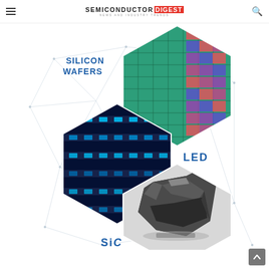SEMICONDUCTOR DIGEST — NEWS AND INDUSTRY TRENDS
[Figure (infographic): Semiconductor Digest infographic showing hexagonal images of semiconductor materials and products: Silicon Wafers (colorful chip wafer), LED (blue LED strip lights), SiC (silicon carbide crystal chunk), connected by geometric lines on white background. Labels: SILICON WAFERS, LED, SiC]